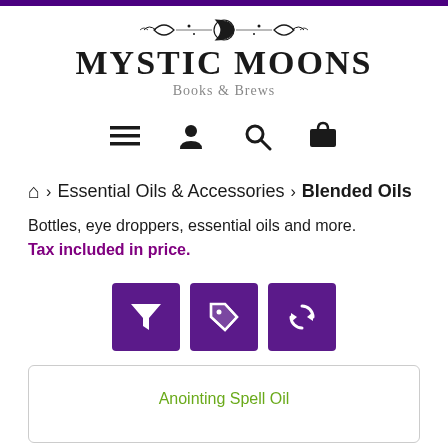[Figure (logo): Mystic Moons Books & Brews logo with decorative moon and scroll elements]
[Figure (other): Navigation icons: hamburger menu, user profile, search, and shopping cart]
🏠 › Essential Oils & Accessories › Blended Oils
Bottles, eye droppers, essential oils and more.
Tax included in price.
[Figure (other): Filter, tag, and refresh action buttons in purple]
Anointing Spell Oil